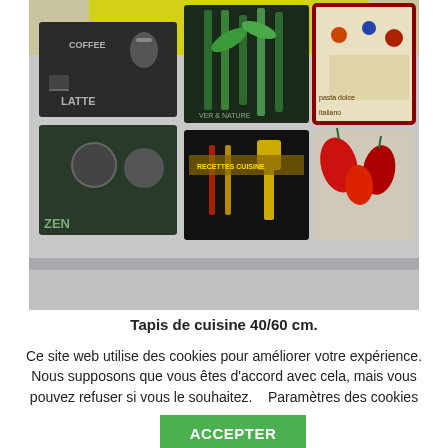[Figure (photo): Multiple kitchen rugs/mats (40/60 cm) displayed side by side on a surface. Designs include coffee/latte theme, green bamboo/nature theme, colorful illustrated kitchen theme, zen/yin-yang theme, cooking utensils theme, and red pepper/vegetable theme. Items appear to be wrapped in plastic.]
Tapis de cuisine 40/60 cm.
Ce site web utilise des cookies pour améliorer votre expérience. Nous supposons que vous êtes d'accord avec cela, mais vous pouvez refuser si vous le souhaitez.    Paramètres des cookies
ACCEPTER